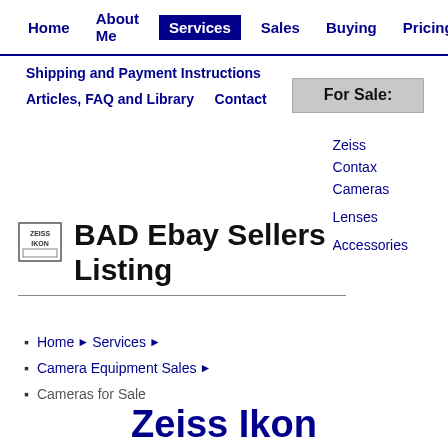Home  About Me  Services  Sales  Buying  Pricing
Shipping and Payment Instructions
Articles, FAQ and Library    Contact
For Sale:
Zeiss
Contax
Cameras
Lenses
Accessories
BAD Ebay Sellers Listing
Home ▶ Services ▶
Camera Equipment Sales ▶
Cameras for Sale
Zeiss Ikon